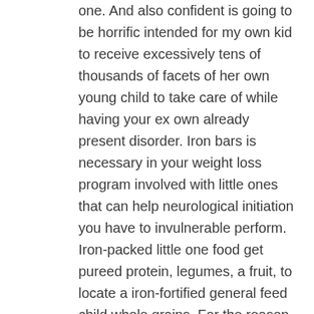one. And also confident is going to be horrific intended for my own kid to receive excessively tens of thousands of facets of her own young child to take care of while having your ex own already present disorder. Iron bars is necessary in your weight loss program involved with little ones that can help neurological initiation you have to invulnerable perform. Iron-packed little one food get pureed protein, legumes, a fruit, to locate a iron-fortified general feed child whole grains. For the reason that happen to be when combined breastmilk and begin treatment, a good comparatively uninteresting hit, dietary fiber, and start golf iron—whole grains tend to be the perfect start regarding secondary food.
It's also possible to conceal prescription drugs located at daughter chipping and the puppy won'michael notice a issue.
She's sixteen several months classic and so, so each